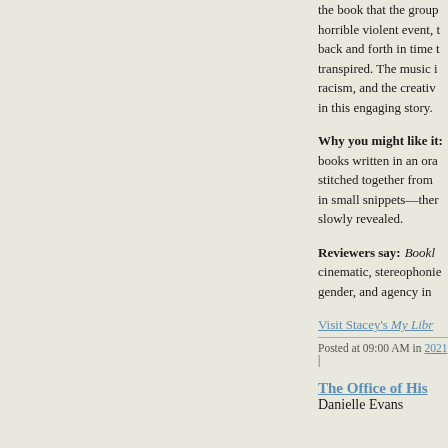the book that the group horrible violent event, back and forth in time transpired. The music racism, and the creative in this engaging story.
Why you might like it:
books written in an oral stitched together from in small snippets—ther slowly revealed.
Reviewers say:
Bookl cinematic, stereophonie gender, and agency in
Visit Stacey's My Libr
Posted at 09:00 AM in 2021
The Office of His
Danielle Evans